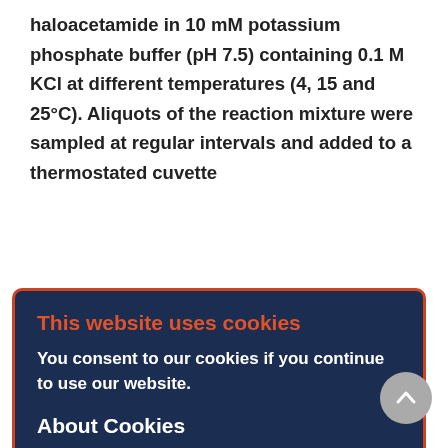haloacetamide in 10 mM potassium phosphate buffer (pH 7.5) containing 0.1 M KCl at different temperatures (4, 15 and 25°C). Aliquots of the reaction mixture were sampled at regular intervals and added to a thermostated cuvette
[Figure (screenshot): Cookie consent overlay popup with dark blue background and orange border. Title 'This website uses cookies' in orange, body text 'You consent to our cookies if you continue to use our website.' in white, subtitle 'About Cookies' in white, and a blue OK button. Behind the overlay, partially visible scientific text about NIPAB solution, enzyme activity monitoring, and halogen-substituted acetic acid derivatives.]
usability, should be considered when choosing a substrate for an enzymatic reaction. It is especially important to bear in mind the preparative use of acyl donors. When selecting